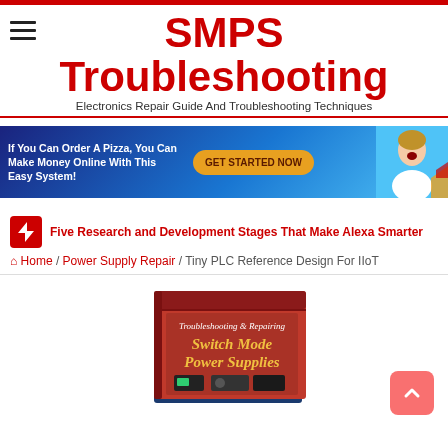SMPS Troubleshooting — Electronics Repair Guide And Troubleshooting Techniques
[Figure (infographic): Advertisement banner: dark blue background with text 'If You Can Order A Pizza, You Can Make Money Online With This Easy System!' and orange button 'GET STARTED NOW' and photo of surprised man holding pizza]
Five Research and Development Stages That Make Alexa Smarter
Home / Power Supply Repair / Tiny PLC Reference Design For IIoT
[Figure (photo): Book cover: Troubleshooting & Repairing Switch Mode Power Supplies]